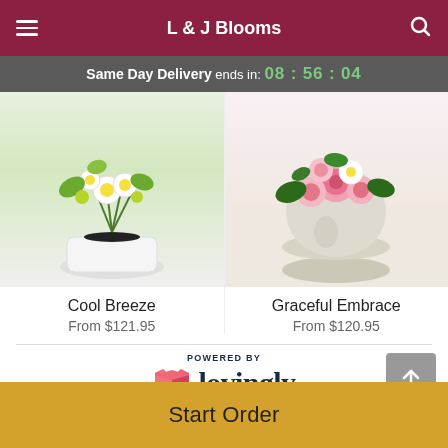L & J Blooms
Same Day Delivery ends in: 08 : 56 : 04
[Figure (photo): Photo of white flower arrangement (Cool Breeze) in a white pot with green and white flowers and a dark ribbon.]
Cool Breeze
From $121.95
[Figure (photo): Photo of pink and white flower arrangement (Graceful Embrace) in a cream/beige round pot.]
Graceful Embrace
From $120.95
POWERED BY
[Figure (logo): Lovingly logo — pink heart-shaped icon with the word 'lovingly' in dark navy bold serif font.]
Start Order